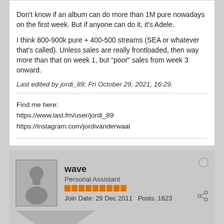Don't know if an album can do more than 1M pure nowadays on the first week. But if anyone can do it, it's Adele.
I think 800-900k pure + 400-500 streams (SEA or whatever that's called). Unless sales are really frontloaded, then way more than that on week 1, but "poor" sales from week 3 onward.
Last edited by jordi_89; Fri October 29, 2021, 16:29.
Find me here:
https://www.last.fm/user/jordi_89
https://instagram.com/jordivanderwaal
wave
Personal Assistant
Join Date: 29 Dec 2011   Posts: 1623
Fri October 29, 2021, 16:29
#304
Another record broken.